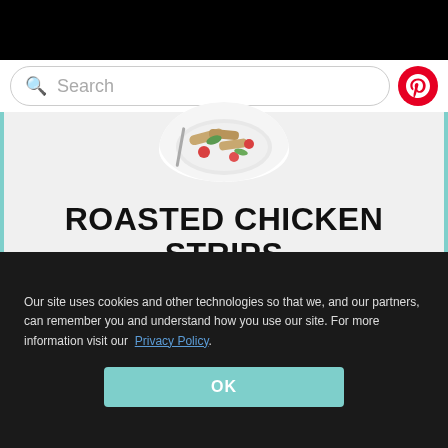[Figure (screenshot): Search bar with green search icon and Pinterest red circular button on right]
[Figure (photo): Circular cropped photo of roasted chicken strips and vegetables on a plate]
ROASTED CHICKEN STRIPS AND VEGETABLES
BY EATWELL101
YIELD:    PREP TIME:MIN    COOK TIME:MIN
Our site uses cookies and other technologies so that we, and our partners, can remember you and understand how you use our site. For more information visit our Privacy Policy.
OK